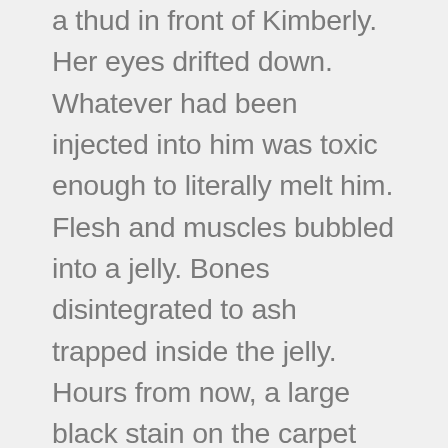a thud in front of Kimberly. Her eyes drifted down. Whatever had been injected into him was toxic enough to literally melt him. Flesh and muscles bubbled into a jelly. Bones disintegrated to ash trapped inside the jelly. Hours from now, a large black stain on the carpet would be all that remained. She closed her eyes but couldn't escape the image of the mess on the floor.
Go to your grandmother, that she